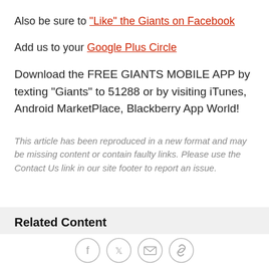Also be sure to "Like" the Giants on Facebook
Add us to your Google Plus Circle
Download the FREE GIANTS MOBILE APP by texting "Giants" to 51288 or by visiting iTunes, Android MarketPlace, Blackberry App World!
This article has been reproduced in a new format and may be missing content or contain faulty links. Please use the Contact Us link in our site footer to report an issue.
Related Content